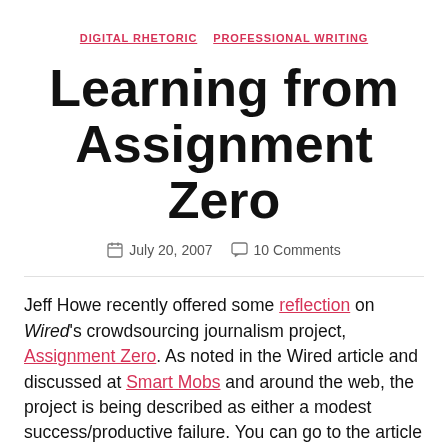DIGITAL RHETORIC   PROFESSIONAL WRITING
Learning from Assignment Zero
July 20, 2007   10 Comments
Jeff Howe recently offered some reflection on Wired's crowdsourcing journalism project, Assignment Zero. As noted in the Wired article and discussed at Smart Mobs and around the web, the project is being described as either a modest success/productive failure. You can go to the article for the details, but the lessons learned from the project are useful ones for thinking about